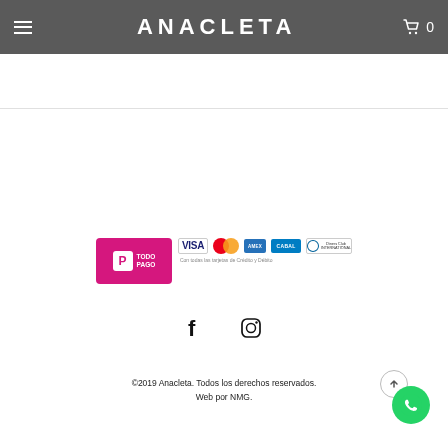ANACLETA
[Figure (logo): Todo Pago payment logo with card brand logos: VISA, Mastercard, American Express, CABAL, Diners Club]
[Figure (logo): Facebook and Instagram social media icons]
©2019 Anacleta. Todos los derechos reservados. Web por NMG.